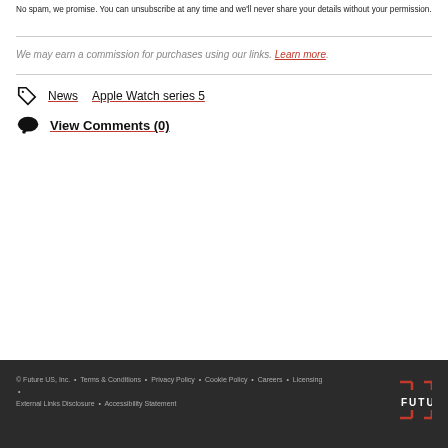No spam, we promise. You can unsubscribe at any time and we'll never share your details without your permission.
We may earn a commission for purchases using our links. Learn more.
News   Apple Watch series 5
View Comments (0)
© Future US, Inc. • Terms & Conditions • Privacy Policy • Cookie Policy • Careers • Licensing • External Links Disclosure • Accessibility Statement